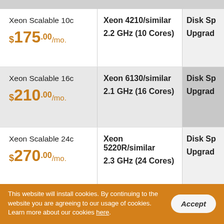| Plan | CPU | Storage |
| --- | --- | --- |
| Xeon Scalable 10c
$175.00/mo. | Xeon 4210/similar
2.2 GHz (10 Cores) | Disk Sp...
Upgrad... |
| Xeon Scalable 16c
$210.00/mo. | Xeon 6130/similar
2.1 GHz (16 Cores) | Disk Sp...
Upgrad... |
| Xeon Scalable 24c
$270.00/mo. | Xeon 5220R/similar
2.3 GHz (24 Cores) | Disk Sp...
Upgrad... |
| Xeon Scalable 48c |  |  |
This website will install cookies. By continuing to the website you are agreeing to our usage of cookies. Learn more about our cookies here.